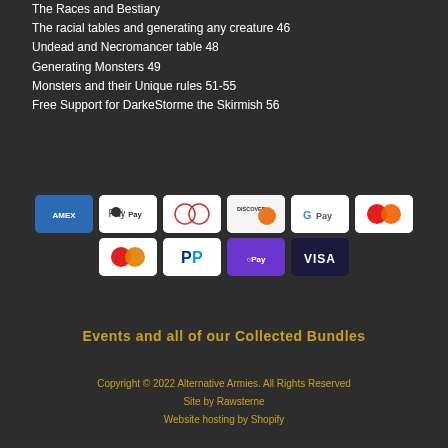The Races and Bestiary
The racial tables and generating any creature 46
Undead and Necromancer table 48
Generating Monsters 49
Monsters and their Unique rules 51-55
Free Support for DarkeStorme the Skirmish 56
[Figure (other): Payment method icons: AMEX, Apple Pay, Diners, Discover, G Pay, Mastercard (top row); Mastercard, PayPal, O Pay, VISA (bottom row)]
Events and all of our Collected Bundles
Copyright © 2022 Alternative Armies. All Rights Reserved
Site by Rawsterne
Website hosting by Shopify